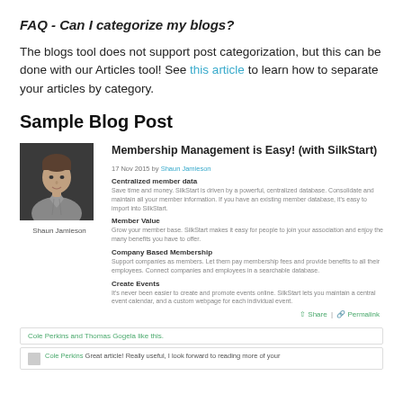FAQ - Can I categorize my blogs?
The blogs tool does not support post categorization, but this can be done with our Articles tool! See this article to learn how to separate your articles by category.
Sample Blog Post
[Figure (photo): Black and white photo of Shaun Jamieson, a man in a button-up shirt. Caption reads 'Shaun Jamieson'.]
Membership Management is Easy! (with SilkStart)
17 Nov 2015 by Shaun Jamieson
Centralized member data
Save time and money. SilkStart is driven by a powerful, centralized database. Consolidate and maintain all your member information. If you have an existing member database, it's easy to import into SilkStart.
Member Value
Grow your member base. SilkStart makes it easy for people to join your association and enjoy the many benefits you have to offer.
Company Based Membership
Support companies as members. Let them pay membership fees and provide benefits to all their employees. Connect companies and employees in a searchable database.
Create Events
It's never been easier to create and promote events online. SilkStart lets you maintain a central event calendar, and a custom webpage for each individual event.
Share | Permalink
Cole Perkins and Thomas Gogela like this.
Cole Perkins Great article! Really useful, I look forward to reading more of your